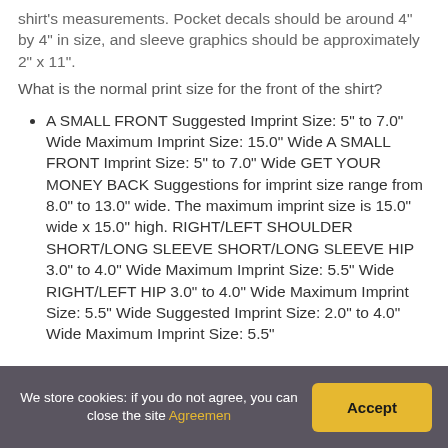shirt's measurements. Pocket decals should be around 4" by 4" in size, and sleeve graphics should be approximately 2" x 11".
What is the normal print size for the front of the shirt?
A SMALL FRONT Suggested Imprint Size: 5" to 7.0" Wide Maximum Imprint Size: 15.0" Wide A SMALL FRONT Imprint Size: 5" to 7.0" Wide GET YOUR MONEY BACK Suggestions for imprint size range from 8.0" to 13.0" wide. The maximum imprint size is 15.0" wide x 15.0" high. RIGHT/LEFT SHOULDER SHORT/LONG SLEEVE SHORT/LONG SLEEVE HIP 3.0" to 4.0" Wide Maximum Imprint Size: 5.5" Wide RIGHT/LEFT HIP 3.0" to 4.0" Wide Maximum Imprint Size: 5.5" Wide Suggested Imprint Size: 2.0" to 4.0" Wide Maximum Imprint Size: 5.5"
We store cookies: if you do not agree, you can close the site Agreemen